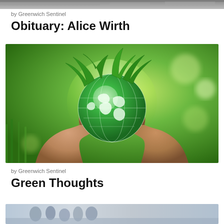[Figure (photo): Partial top image cropped at the top of the page, appears to be a newspaper/article thumbnail]
by Greenwich Sentinel
Obituary: Alice Wirth
[Figure (photo): Two hands cupping a glowing green glass globe Earth with green leaves growing from the top, set against a blurred green nature background]
by Greenwich Sentinel
Green Thoughts
[Figure (photo): Partial bottom image cropped at the bottom of the page, appears to be another article thumbnail with people]